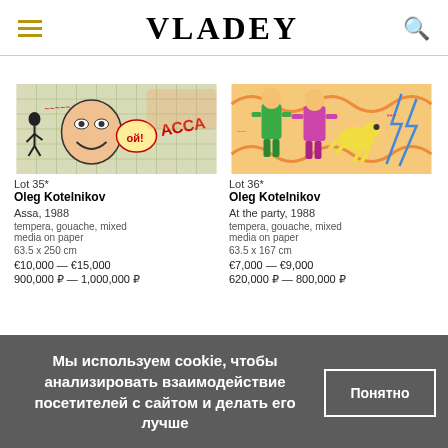VLADEY
[Figure (photo): Painting by Oleg Kotelnikov, Assa, 1988. Colorful expressionist work with faces, text 'ой!' and 'АССА', figures on paper.]
Lot 35*
Oleg Kotelnikov
Assa, 1988
tempera, gouache, mixed media on paper
63.5 x 250 cm
€10,000 — €15,000
900,000 ₽ — 1,000,000 ₽
[Figure (photo): Painting by Oleg Kotelnikov, At the party, 1988. Colorful expressionist work with figures, green and pink characters, orange background.]
Lot 36*
Oleg Kotelnikov
At the party, 1988
tempera, gouache, mixed media on paper
63.5 x 167 cm
€7,000 — €9,000
620,000 ₽ — 800,000 ₽
Мы используем cookie, чтобы анализировать взаимодействие посетителей с сайтом и делать его лучше
Понятно